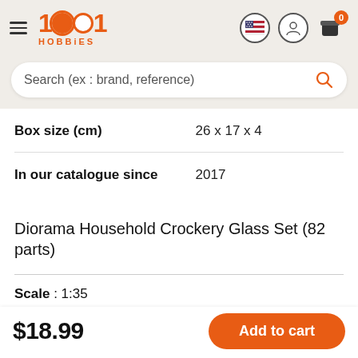1001 Hobbies
Search (ex : brand, reference)
| Box size (cm) | 26 x 17 x 4 |
| In our catalogue since | 2017 |
Diorama Household Crockery Glass Set (82 parts)
Scale : 1:35
$18.99
Add to cart